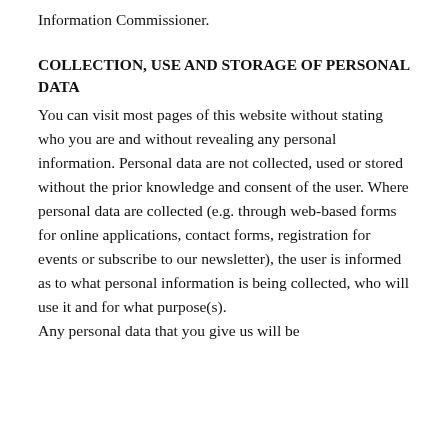Information Commissioner.
COLLECTION, USE AND STORAGE OF PERSONAL DATA
You can visit most pages of this website without stating who you are and without revealing any personal information. Personal data are not collected, used or stored without the prior knowledge and consent of the user. Where personal data are collected (e.g. through web-based forms for online applications, contact forms, registration for events or subscribe to our newsletter), the user is informed as to what personal information is being collected, who will use it and for what purpose(s). Any personal data that you give us will be